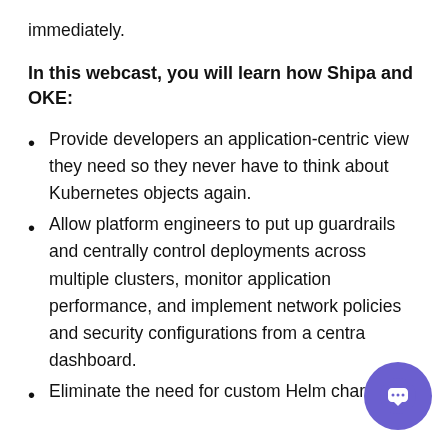immediately.
In this webcast, you will learn how Shipa and OKE:
Provide developers an application-centric view they need so they never have to think about Kubernetes objects again.
Allow platform engineers to put up guardrails and centrally control deployments across multiple clusters, monitor application performance, and implement network policies and security configurations from a central dashboard.
Eliminate the need for custom Helm charts